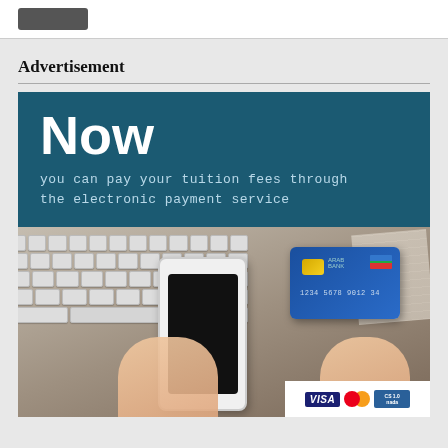[Figure (logo): Dark rectangular logo/button in top bar]
Advertisement
[Figure (infographic): Advertisement banner: teal background with text 'Now you can pay your tuition fees through the electronic payment service', below is a photo of hands holding a smartphone and credit card near a keyboard, with VISA, MasterCard, and Sadad payment logos in bottom-right corner]